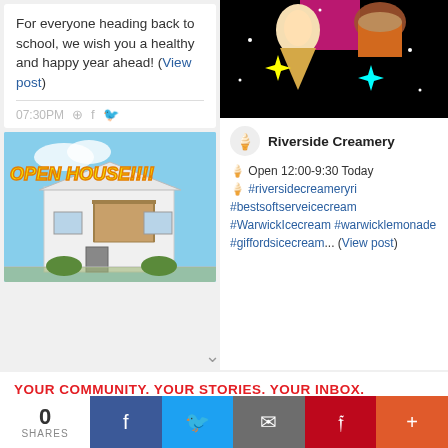For everyone heading back to school, we wish you a healthy and happy year ahead! (View post)
[Figure (screenshot): Open House real estate post image with yellow italic text OPEN HOUSE!!!! over a photo of a white house]
[Figure (photo): Riverside Creamery ice cream photo with sparkle graphics on black background]
Riverside Creamery
🍦 Open 12:00-9:30 Today 🍦 #riversidecreameryri #bestsoftserveicecream #WarwickIcecream #warwicklemonade #giffordsicecream... (View post)
YOUR COMMUNITY. YOUR STORIES. YOUR INBOX.
Sign up for our free newsletter today! ▶
0 SHARES